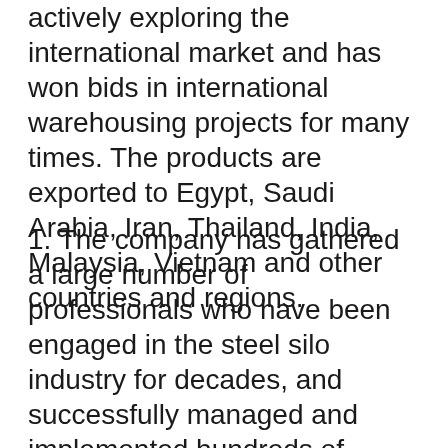actively exploring the international market and has won bids in international warehousing projects for many times. The products are exported to Egypt, Saudi Arabia, Iran, Thailand, India, Malaysia, Vietnam and other countries and regions.
1. The company has gathered a large number of professionals who have been engaged in the steel silo industry for decades, and successfully managed and implemented hundreds of complete sets of steel silo projects.
2. Possess specialized capabilities in project consulting, civil engineering, technology, steel structure, electrical, and mechanical manufacturing. From R&D and design of steel silo to project construction;